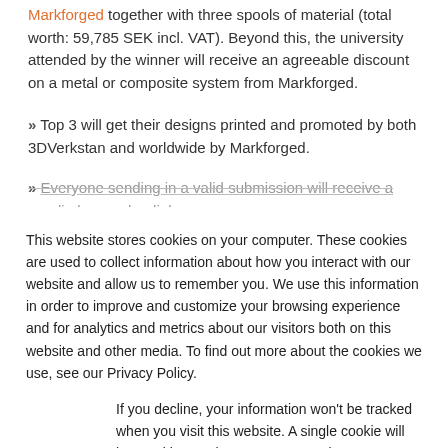Markforged together with three spools of material (total worth: 59,785 SEK incl. VAT). Beyond this, the university attended by the winner will receive an agreeable discount on a metal or composite system from Markforged.
» Top 3 will get their designs printed and promoted by both 3DVerkstan and worldwide by Markforged.
» Everyone sending in a valid submission will receive a goodie bag and a diploma
This website stores cookies on your computer. These cookies are used to collect information about how you interact with our website and allow us to remember you. We use this information in order to improve and customize your browsing experience and for analytics and metrics about our visitors both on this website and other media. To find out more about the cookies we use, see our Privacy Policy.
If you decline, your information won't be tracked when you visit this website. A single cookie will be used in your browser to remember your preference not to be tracked.